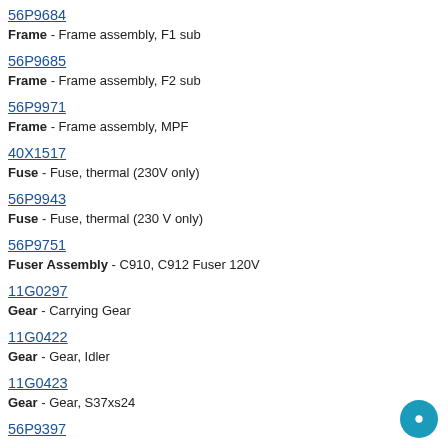56P9684 Frame - Frame assembly, F1 sub
56P9685 Frame - Frame assembly, F2 sub
56P9971 Frame - Frame assembly, MPF
40X1517 Fuse - Fuse, thermal (230V only)
56P9943 Fuse - Fuse, thermal (230 V only)
56P9751 Fuser Assembly - C910, C912 Fuser 120V
11G0297 Gear - Carrying Gear
11G0422 Gear - Gear, Idler
11G0423 Gear - Gear, S37xs24
56P9397